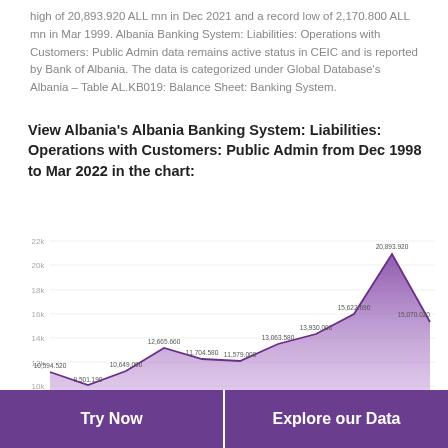high of 20,893.920 ALL mn in Dec 2021 and a record low of 2,170.800 ALL mn in Mar 1999. Albania Banking System: Liabilities: Operations with Customers: Public Admin data remains active status in CEIC and is reported by Bank of Albania. The data is categorized under Global Database's Albania – Table AL.KB019: Balance Sheet: Banking System.
View Albania's Albania Banking System: Liabilities: Operations with Customers: Public Admin from Dec 1998 to Mar 2022 in the chart:
[Figure (area-chart): Albania Banking System: Liabilities: Operations with Customers: Public Admin]
Try Now    Explore our Data